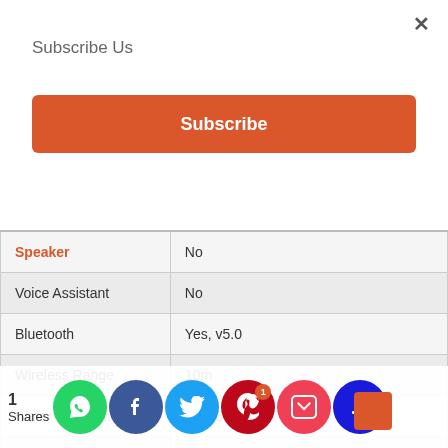×
Subscribe Us
Subscribe
| Feature | Value |
| --- | --- |
| Speaker | No |
| Voice Assistant | No |
| Bluetooth | Yes, v5.0 |
| Wireless Range | 10m |
| Water Resistant | Yes, 3 ATM |
| Sweat Proof | Yes |
| Compatibility | Android
iOS |
1 Shares